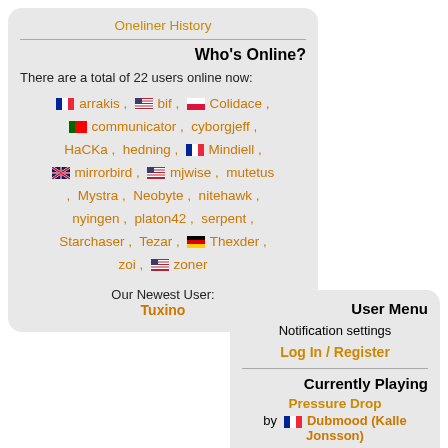Oneliner History
Who's Online?
There are a total of 22 users online now:
arrakis, bif, Colidace, communicator, cyborgjeff, HaCKa, hedning, Mindiell, mirrorbird, mjwise, mutetus, Mystra, Neobyte, nitehawk, nyingen, platon42, serpent, Starchaser, Tezar, Thexder, zoi, zoner
Our Newest User: Tuxino
User Menu
Notification settings
Log In / Register
Currently Playing
Pressure Drop
by Dubmood (Kalle Jonsson)
Requested By: djrandom
Time Left: 3:17